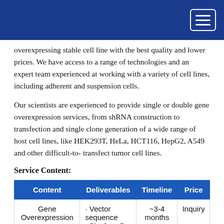overexpressing stable cell line with the best quality and lower prices. We have access to a range of technologies and an expert team experienced at working with a variety of cell lines, including adherent and suspension cells.
Our scientists are experienced to provide single or double gene overexpression services, from shRNA construction to transfection and single clone generation of a wide range of host cell lines, like HEK293T, HeLa, HCT116, HepG2, A549 and other difficult-to-transfect tumor cell lines.
Service Content:
| Content | Deliverables | Timeline | Price |
| --- | --- | --- | --- |
| Gene Overexpression | · Vector sequence
· Single cell | ~3-4 months | Inquiry |